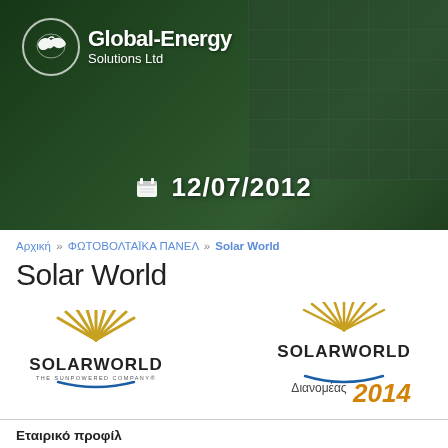[Figure (photo): Hero banner with solar panel and light bulb on grass background, dark green overlay, date 12/07/2012 displayed in white text with calendar icon, Global-Energy Solutions Ltd logo in top left]
Αρχική » ΦΩΤΟΒΟΛΤΑΪΚΑ ΠΑΝΕΛ » Solar World
Solar World
[Figure (logo): SolarWorld logo - left version with sun rays and text 'SOLARWORLD THE SUNPOWERED COMPANY']
[Figure (logo): SolarWorld 2014 Distributor logo - right version with sun rays, text 'SOLARWORLD', Greek text 'Διανομέας' and '2014' in gold]
Εταιρικό προφίλ